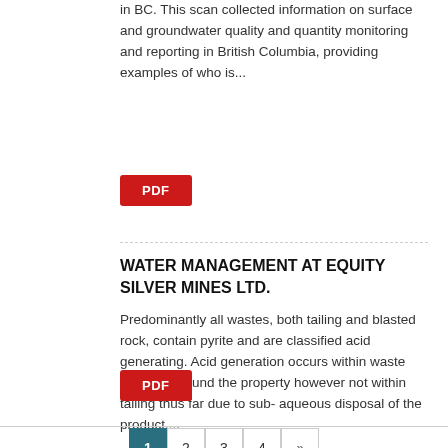in BC. This scan collected information on surface and groundwater quality and quantity monitoring and reporting in British Columbia, providing examples of who is...
[Figure (other): Red PDF button]
WATER MANAGEMENT AT EQUITY SILVER MINES LTD.
Predominantly all wastes, both tailing and blasted rock, contain pyrite and are classified acid generating. Acid generation occurs within waste rock fills around the property however not within tailing thus far due to sub- aqueous disposal of the product....
[Figure (other): Red PDF button]
1 2 3 4 »